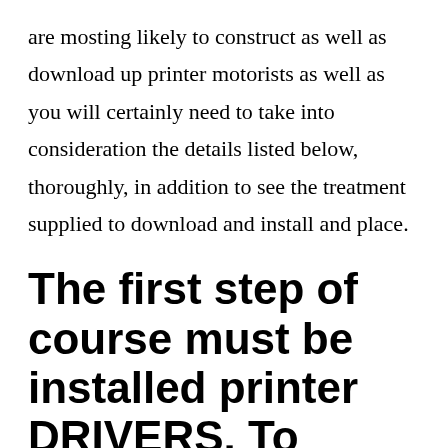are mosting likely to construct as well as download up printer motorists as well as you will certainly need to take into consideration the details listed below, thoroughly, in addition to see the treatment supplied to download and install and place.
The first step of course must be installed printer DRIVERS. To download click here